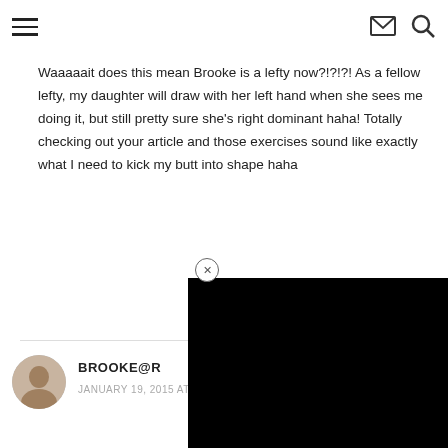[hamburger menu icon] [mail icon] [search icon]
Waaaaait does this mean Brooke is a lefty now?!?!?! As a fellow lefty, my daughter will draw with her left hand when she sees me doing it, but still pretty sure she's right dominant haha! Totally checking out your article and those exercises sound like exactly what I need to kick my butt into shape haha
[Figure (other): Black overlay/video panel covering lower right portion of the page]
BROOKE@R
JANUARY 19, 2015 AT 5:21 PM  •  REPLY